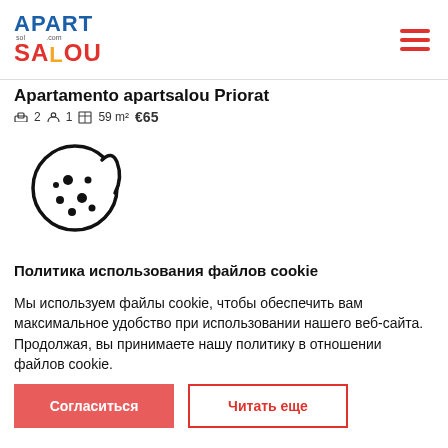APART SALOU — logo and navigation hamburger menu
Apartamento apartsalou Priorat
2  1  59 m²  €65
[Figure (illustration): Cookie icon — circular cookie with bite taken out and chocolate chip dots, black outline on white background]
Политика использования файлов cookie
Мы используем файлы cookie, чтобы обеспечить вам максимальное удобство при использовании нашего веб-сайта. Продолжая, вы принимаете нашу политику в отношении файлов cookie.
Читать
Согласиться  |  Читать еще